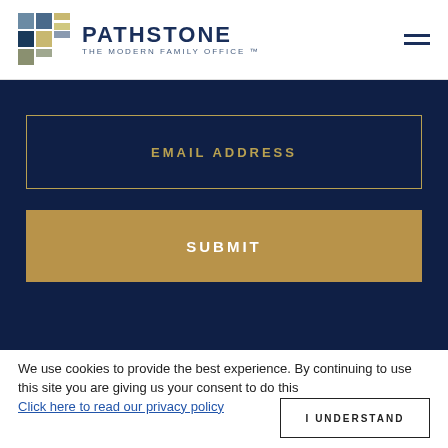[Figure (logo): Pathstone logo with colored square tiles and text 'PATHSTONE THE MODERN FAMILY OFFICE']
EMAIL ADDRESS
SUBMIT
[Figure (photo): Landscape photo strip showing a warm sunset or desert scene]
We use cookies to provide the best experience. By continuing to use this site you are giving us your consent to do this  Click here to read our privacy policy
I UNDERSTAND